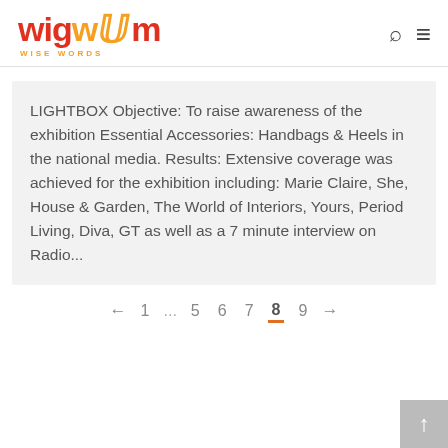wigwam WISE WORDS
LIGHTBOX Objective: To raise awareness of the exhibition Essential Accessories: Handbags & Heels in the national media. Results: Extensive coverage was achieved for the exhibition including: Marie Claire, She, House & Garden, The World of Interiors, Yours, Period Living, Diva, GT as well as a 7 minute interview on Radio...
← 1 ... 5 6 7 8 9 →